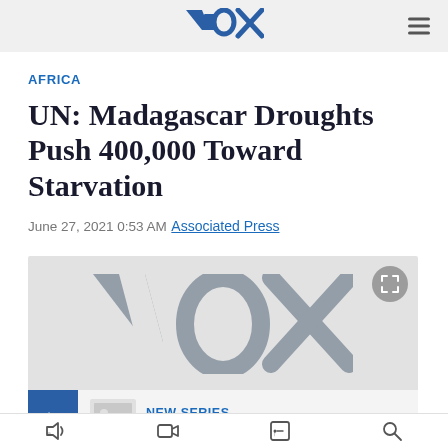VOX
AFRICA
UN: Madagascar Droughts Push 400,000 Toward Starvation
June 27, 2021 0:53 AM
Associated Press
[Figure (screenshot): VOX news video player screenshot showing large VOX logo watermark on grey background, with a video overlay bar at bottom showing a blue arrow button, small VOX logo icon, NEW SERIES label and '52 Documentary' text]